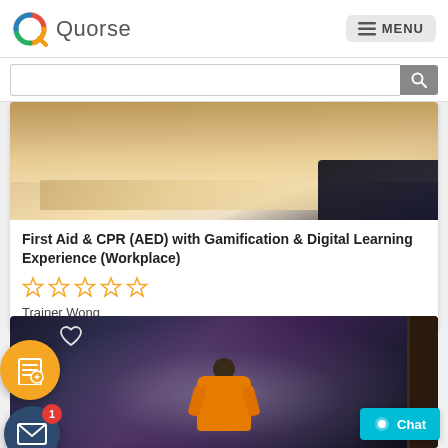Quorse   MENU
[Figure (screenshot): Search bar with magnifying glass icon button]
[Figure (photo): Close-up photo of a wooden desk surface with a blurred dark object]
First Aid & CPR (AED) with Gamification & Digital Learning Experience (Workplace)
[Figure (other): Five empty star rating icons in orange/yellow outline]
Trainer Wong
[Figure (photo): Person in orange jacket crouching in smoky dark environment]